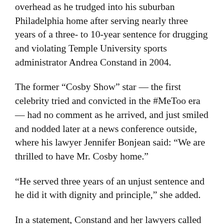overhead as he trudged into his suburban Philadelphia home after serving nearly three years of a three- to 10-year sentence for drugging and violating Temple University sports administrator Andrea Constand in 2004.
The former “Cosby Show” star — the first celebrity tried and convicted in the #MeToo era — had no comment as he arrived, and just smiled and nodded later at a news conference outside, where his lawyer Jennifer Bonjean said: “We are thrilled to have Mr. Cosby home.”
“He served three years of an unjust sentence and he did it with dignity and principle,” she added.
In a statement, Constand and her lawyers called the ruling disappointing, and they, like many other advocates, expressed fear that it could discourage sexual assault victims from coming forward. “We urge